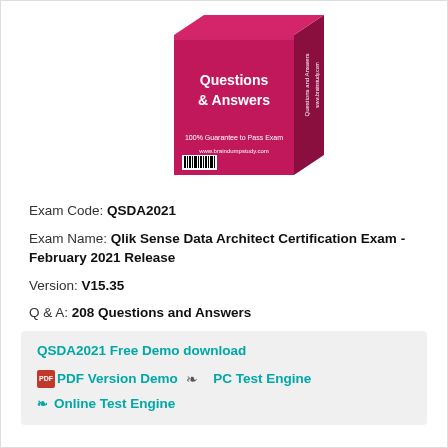[Figure (illustration): 3D product box with pink/red color showing 'Questions & Answers' text, '100% Guarantee to Pass Exam' tagline, barcode, and website URL]
Exam Code: QSDA2021
Exam Name: Qlik Sense Data Architect Certification Exam - February 2021 Release
Version: V15.35
Q & A: 208 Questions and Answers
QSDA2021 Free Demo download
PDF Version Demo  PC Test Engine
Online Test Engine